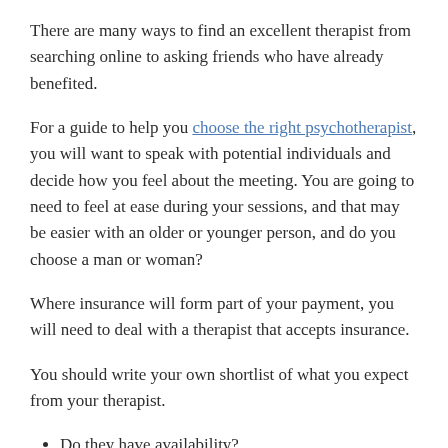There are many ways to find an excellent therapist from searching online to asking friends who have already benefited.
For a guide to help you choose the right psychotherapist, you will want to speak with potential individuals and decide how you feel about the meeting. You are going to need to feel at ease during your sessions, and that may be easier with an older or younger person, and do you choose a man or woman?
Where insurance will form part of your payment, you will need to deal with a therapist that accepts insurance.
You should write your own shortlist of what you expect from your therapist.
Do they have availability?
What are their typical clients like?